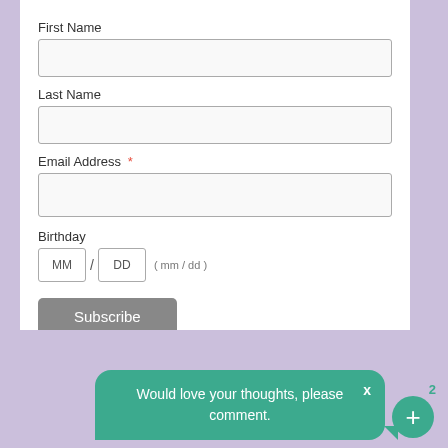First Name
Last Name
Email Address *
Birthday
MM / DD ( mm / dd )
Subscribe
Would love your thoughts, please comment.